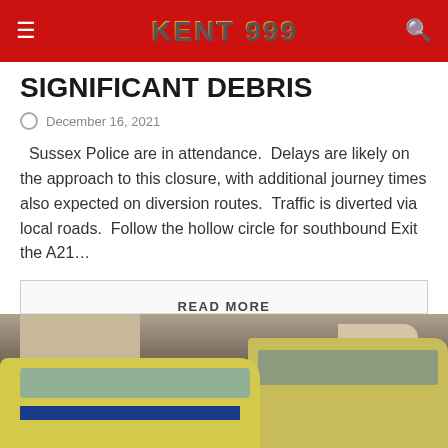KENT 999
SIGNIFICANT DEBRIS
December 16, 2021
Sussex Police are in attendance.  Delays are likely on the approach to this closure, with additional journey times also expected on diversion routes.  Traffic is diverted via local roads.  Follow the hollow circle for southbound Exit the A21…
READ MORE
[Figure (photo): Police vehicles including a yellow-and-blue chequered police car and a large police van parked on a street with brick buildings in the background.]